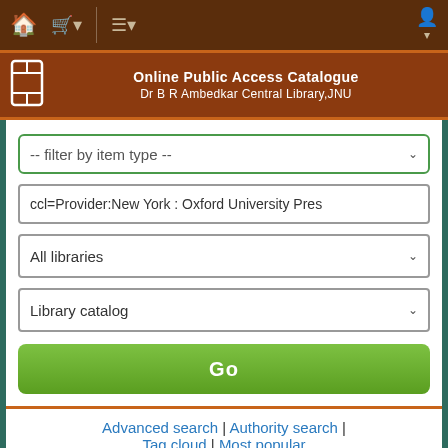Online Public Access Catalogue
Dr B R Ambedkar Central Library,JNU
[Figure (screenshot): Filter by item type dropdown selector]
[Figure (screenshot): Search input field with text: ccl=Provider:New York : Oxford University Pres]
[Figure (screenshot): All libraries dropdown selector]
[Figure (screenshot): Library catalog dropdown selector]
[Figure (screenshot): Go button - green]
Advanced search | Authority search | Tag cloud | Most popular
[Figure (screenshot): Refine your search button]
Your search returned 1922 results.